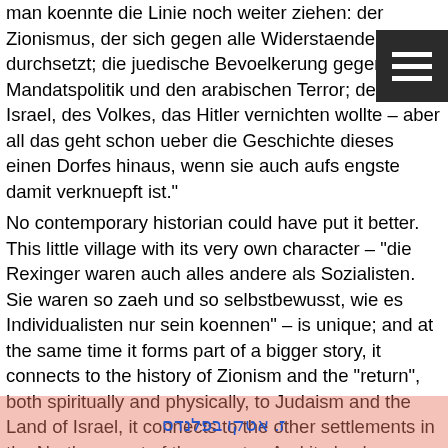man koennte die Linie noch weiter ziehen: der Zionismus, der sich gegen alle Widerstaende durchsetzt; die juedische Bevoelkerung gegen die Mandatspolitik und den arabischen Terror; der Staat Israel, des Volkes, das Hitler vernichten wollte – aber all das geht schon ueber die Geschichte dieses einen Dorfes hinaus, wenn sie auch aufs engste damit verknuepft ist."
No contemporary historian could have put it better. This little village with its very own character – "die Rexinger waren auch alles andere als Sozialisten. Sie waren so zaeh und so selbstbewusst, wie es Individualisten nur sein koennen" – is unique; and at the same time it forms part of a bigger story, it connects to the history of Zionism and the "return", both spiritually and physically, to Judaism and the Land of Israel, it connects to the other settlements in the Northern part of the country. And it also has a connection to Germany. "Das kleine weisse Nest am grossen Meer"[14] has been, for many years, one of the points for young Germans to turn to when they – we